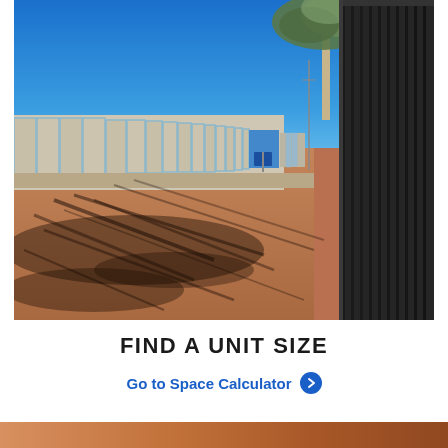[Figure (photo): Outdoor storage facility with a row of storage units with roller doors on the left, a tall black metal fence on the right, red/orange dirt ground with tree shadows, a eucalyptus tree in the background, and a clear blue sky. A storage company sign is visible in the distance.]
FIND A UNIT SIZE
Go to Space Calculator ›